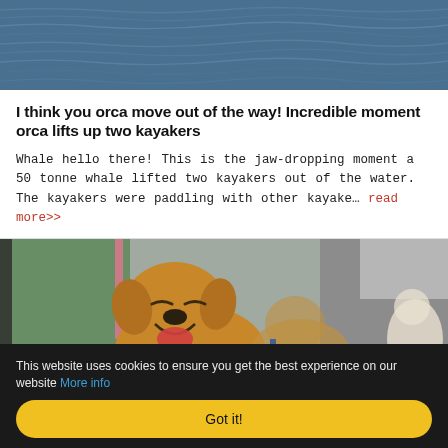[Figure (photo): Ocean water surface with dark blue waves, viewed from above]
I think you orca move out of the way! Incredible moment orca lifts up two kayakers
Whale hello there! This is the jaw-dropping moment a 50 tonne whale lifted two kayakers out of the water. The kayakers were paddling with other kayake… read more>>
[Figure (photo): A smiling brown puppy dog with mouth open, appearing happy, with other dogs and equipment in background, outdoors]
This website uses cookies to ensure you get the best experience on our website More info
Got it!